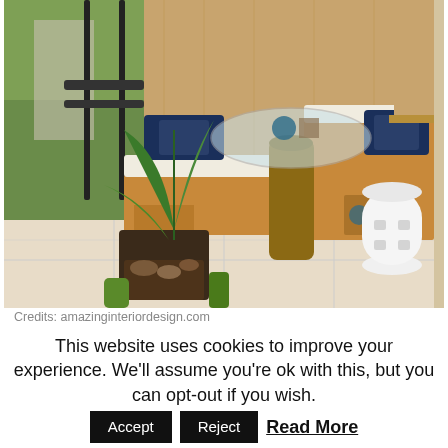[Figure (photo): A cozy balcony with wooden L-shaped bench seating with white cushions and navy blue pillows, a glass-top table with a rustic log base, tropical plants, a white ceramic garden stool, and metal railing overlooking green plants outside.]
Credits: amazinginteriordesign.com
This website uses cookies to improve your experience. We'll assume you're ok with this, but you can opt-out if you wish. Accept Reject Read More